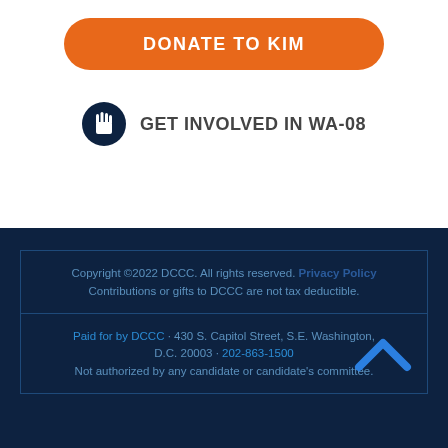[Figure (other): Orange rounded button with bold white uppercase text reading DONATE TO KIM]
GET INVOLVED IN WA-08
Copyright ©2022 DCCC. All rights reserved. Privacy Policy
Contributions or gifts to DCCC are not tax deductible.
Paid for by DCCC · 430 S. Capitol Street, S.E. Washington, D.C. 20003 · 202-863-1500
Not authorized by any candidate or candidate's committee.